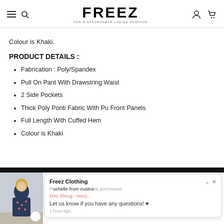FREEZ — FUN & AFFORDABLE LADIES FASHION
Colour is Khaki.
PRODUCT DETAILS :
Fabrication : Poly/Spandex
Pull On Pant With Drawstring Waist
2 Side Pockets
Thick Poly Ponti Fabric With Pu Front Panels
Full Length With Cuffed Hem
Colour is Khaki
[Figure (screenshot): Chat notification popup: 'Freez Clothing — Let us know if you have any questions!' with a purchase notification from Rochelle from Australia. Also shows a product photo of a woman in a navy floral outfit.]